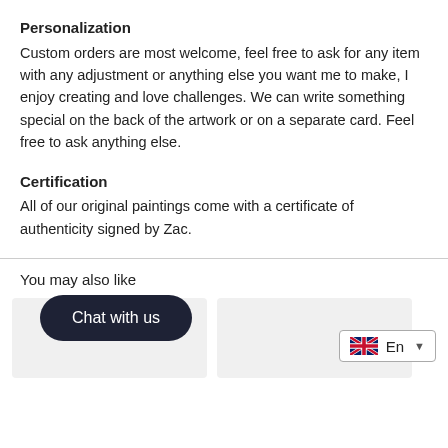Personalization
Custom orders are most welcome, feel free to ask for any item with any adjustment or anything else you want me to make, I enjoy creating and love challenges. We can write something special on the back of the artwork or on a separate card. Feel free to ask anything else.
Certification
All of our original paintings come with a certificate of authenticity signed by Zac.
You may also like
[Figure (other): Chat with us button overlay]
[Figure (other): Language selector showing UK flag and En dropdown]